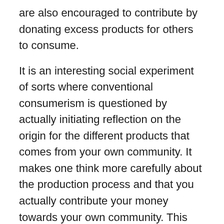are also encouraged to contribute by donating excess products for others to consume.
It is an interesting social experiment of sorts where conventional consumerism is questioned by actually initiating reflection on the origin for the different products that comes from your own community. It makes one think more carefully about the production process and that you actually contribute your money towards your own community. This was a very interesting initiative that contrasts with the intense consumerism culture back at home where most people don't think that much about the origin of the things that they buy. Perhaps there will bemore similar initiatives all over the world to bring us back to a point where we no longer over-use the resources which are far from contributing to a sustainable future.